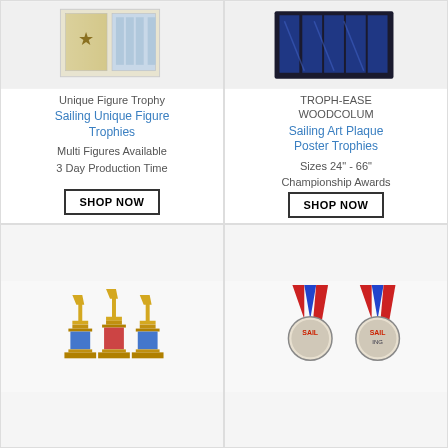[Figure (photo): Sailing unique figure trophies product image - trophy set in box]
Unique Figure Trophy
Sailing Unique Figure Trophies
Multi Figures Available
3 Day Production Time
SHOP NOW
[Figure (photo): TROPH-EASE WOODCOLUM sailing art plaque poster trophies product image]
TROPH-EASE WOODCOLUM
Sailing Art Plaque Poster Trophies
Sizes 24" - 66"
Championship Awards
SHOP NOW
[Figure (photo): Gold sailing trophies of varying sizes with colored bases]
[Figure (photo): Sailing medals with red, white and blue ribbons]